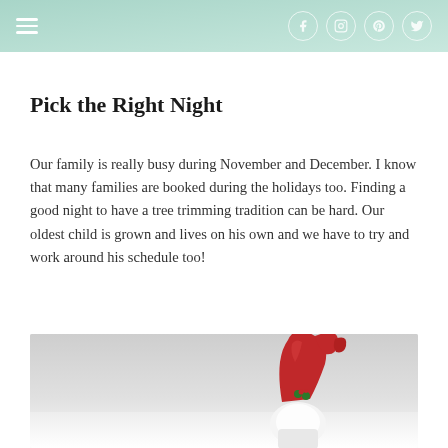Navigation menu with social icons (Facebook, Instagram, Pinterest, Twitter)
Pick the Right Night
Our family is really busy during November and December. I know that many families are booked during the holidays too. Finding a good night to have a tree trimming tradition can be hard. Our oldest child is grown and lives on his own and we have to try and work around his schedule too!
[Figure (photo): A gnome figurine with a red curled hat with a small holly decoration, photographed on a light/white surface with soft gray background.]